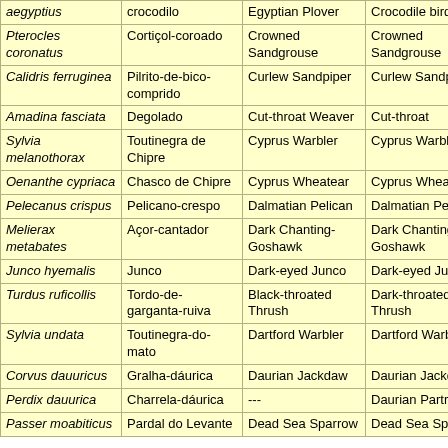| Scientific name | Portuguese name | English name (source) | English name (standard) |
| --- | --- | --- | --- |
| aegyptius | crocodilo | Egyptian Plover | Crocodile bird |
| Pterocles coronatus | Cortiçol-coroado | Crowned Sandgrouse | Crowned Sandgrouse |
| Calidris ferruginea | Pilrito-de-bico-comprido | Curlew Sandpiper | Curlew Sandpiper |
| Amadina fasciata | Degolado | Cut-throat Weaver | Cut-throat |
| Sylvia melanothorax | Toutinegra de Chipre | Cyprus Warbler | Cyprus Warbler |
| Oenanthe cypriaca | Chasco de Chipre | Cyprus Wheatear | Cyprus Wheatear |
| Pelecanus crispus | Pelicano-crespo | Dalmatian Pelican | Dalmatian Pelican |
| Melierax metabates | Açor-cantador | Dark Chanting-Goshawk | Dark Chanting-Goshawk |
| Junco hyemalis | Junco | Dark-eyed Junco | Dark-eyed Junco |
| Turdus ruficollis | Tordo-de-garganta-ruiva | Black-throated Thrush | Dark-throated Thrush |
| Sylvia undata | Toutinegra-do-mato | Dartford Warbler | Dartford Warbler |
| Corvus dauuricus | Gralha-dáurica | Daurian Jackdaw | Daurian Jackdaw |
| Perdix dauurica | Charrela-dáurica | --- | Daurian Partridge |
| Passer moabiticus | Pardal do Levante | Dead Sea Sparrow | Dead Sea Sparrow |